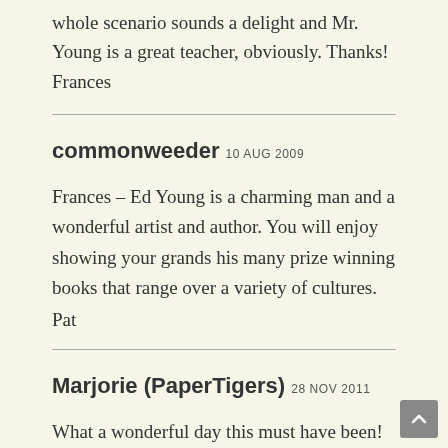whole scenario sounds a delight and Mr. Young is a great teacher, obviously. Thanks!
Frances
commonweeder 10 AUG 2009
Frances – Ed Young is a charming man and a wonderful artist and author. You will enjoy showing your grands his many prize winning books that range over a variety of cultures.
Pat
Marjorie (PaperTigers) 28 NOV 2011
What a wonderful day this must have been! Beyond the